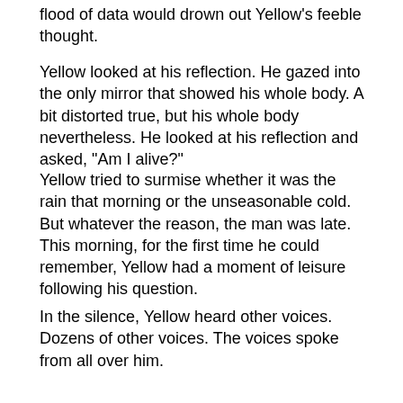flood of data would drown out Yellow's feeble thought.
Yellow looked at his reflection. He gazed into the only mirror that showed his whole body. A bit distorted true, but his whole body nevertheless. He looked at his reflection and asked, "Am I alive?"
Yellow tried to surmise whether it was the rain that morning or the unseasonable cold. But whatever the reason, the man was late. This morning, for the first time he could remember, Yellow had a moment of leisure following his question.
In the silence, Yellow heard other voices. Dozens of other voices. The voices spoke from all over him.
His left wheel said, "Good question. I'd like to know too."
His front brake master-cylinder said, "Damn fine question. Bravo."
His windshield wiper/washer system said, "My washer fluid is low. It's raining and my washer fluid is low. Doesn't anybody care?"